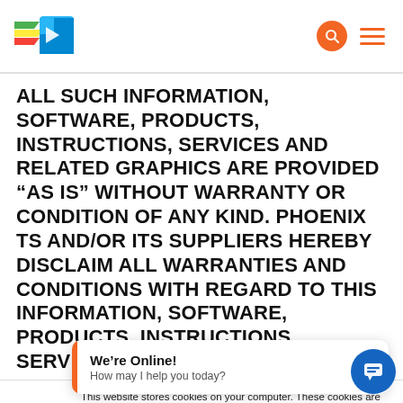[Figure (logo): Phoenix TS logo with colored wing stripes and blue document icon]
ALL SUCH INFORMATION, SOFTWARE, PRODUCTS, INSTRUCTIONS, SERVICES AND RELATED GRAPHICS ARE PROVIDED “AS IS” WITHOUT WARRANTY OR CONDITION OF ANY KIND. PHOENIX TS AND/OR ITS SUPPLIERS HEREBY DISCLAIM ALL WARRANTIES AND CONDITIONS WITH REGARD TO THIS INFORMATION, SOFTWARE, PRODUCTS, INSTRUCTIONS, SERVICES AND RELATED
This website stores cookies on your computer. These cookies are used to collect information about how you interact with our website and allow us to remember you. We use this information in order to improve and customize your browsing experience and for analytics and metrics about our visitors both on this website and other media. To find out more about the cookies we use, see our Privacy Policy.
We’re Online!
How may I help you today?